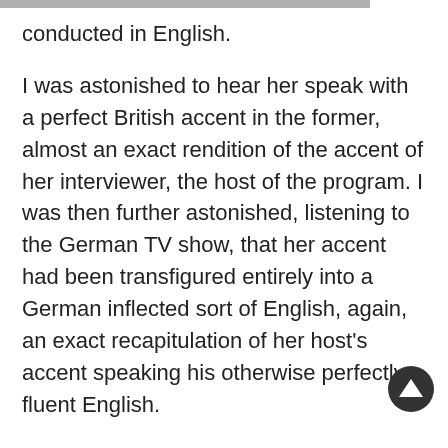conducted in English.
I was astonished to hear her speak with a perfect British accent in the former, almost an exact rendition of the accent of her interviewer, the host of the program. I was then further astonished, listening to the German TV show, that her accent had been transfigured entirely into a German inflected sort of English, again, an exact recapitulation of her host's accent speaking his otherwise perfectly fluent English.
It was also in this latter interview that she responded to the host's questions about her travel through Germany by train, and she explained, when he pointed out that it was certainly to be anticipated that a celebrity of her stature might be expected to travel by plane, as she could certainly afford it, that she